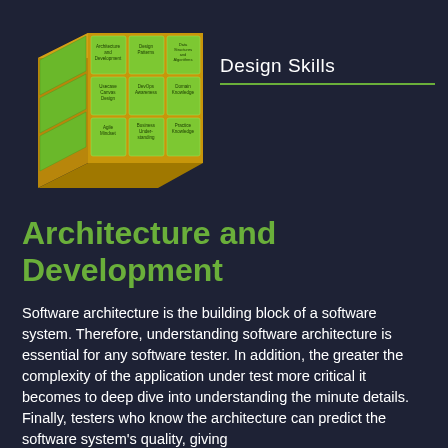[Figure (illustration): 3D Rubik's-cube-like grid of green tiles labeled with software skills including Architecture and Development, Design Patterns, Data Structures and Algorithms, Usecase Canvas Design, DevOps Awareness, Domain Knowledge, Agile Mindset, Business Understanding, Practice Knowledge]
Design Skills
Architecture and Development
Software architecture is the building block of a software system. Therefore, understanding software architecture is essential for any software tester. In addition, the greater the complexity of the application under test more critical it becomes to deep dive into understanding the minute details. Finally, testers who know the architecture can predict the software system's quality, giving